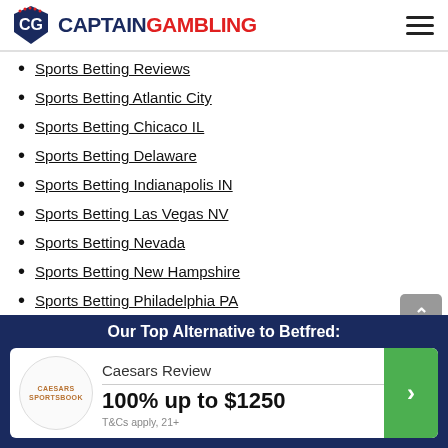CaptainGambling
Sports Betting Reviews
Sports Betting Atlantic City
Sports Betting Chicaco IL
Sports Betting Delaware
Sports Betting Indianapolis IN
Sports Betting Las Vegas NV
Sports Betting Nevada
Sports Betting New Hampshire
Sports Betting Philadelphia PA
Sports Betting Los Angeles CA
Sports Betting San Francisco CA
Our Top Alternative to Betfred:
Caesars Review
100% up to $1250
T&Cs apply, 21+